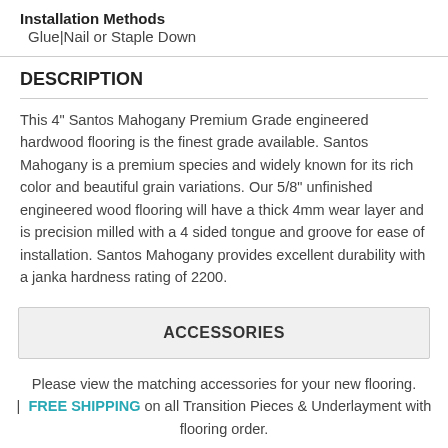Installation Methods  Glue|Nail or Staple Down
DESCRIPTION
This 4" Santos Mahogany Premium Grade engineered hardwood flooring is the finest grade available. Santos Mahogany is a premium species and widely known for its rich color and beautiful grain variations. Our 5/8" unfinished engineered wood flooring will have a thick 4mm wear layer and is precision milled with a 4 sided tongue and groove for ease of installation. Santos Mahogany provides excellent durability with a janka hardness rating of 2200.
ACCESSORIES
Please view the matching accessories for your new flooring. | FREE SHIPPING on all Transition Pieces & Underlayment with flooring order.